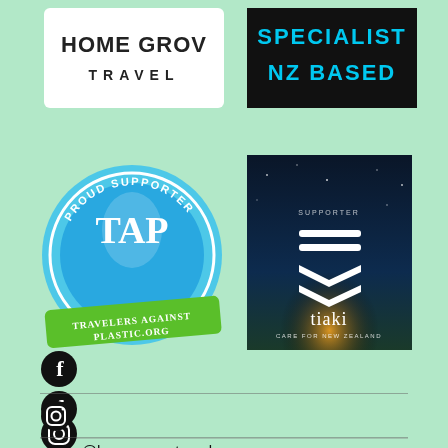[Figure (logo): Home Grown Travel logo - white background with text 'HOME GROWN TRAVEL' in dark letters]
[Figure (logo): Black background badge with cyan text 'SPECIALIST NZ BASED']
[Figure (logo): Travelers Against Plastic badge - blue scalloped circle with TAP logo and green banner reading 'TRAVELERS AGAINST PLASTIC.ORG' - Proud Supporter badge]
[Figure (logo): Tiaki - Care for New Zealand logo on dark starry night background with white chevron/wave symbols and text 'tiaki care for new zealand']
[Figure (logo): Facebook icon - black circle with white f letter]
[Figure (logo): Instagram icon - black circle with white camera/instagram symbol]
emma@homegrowntravel.nz